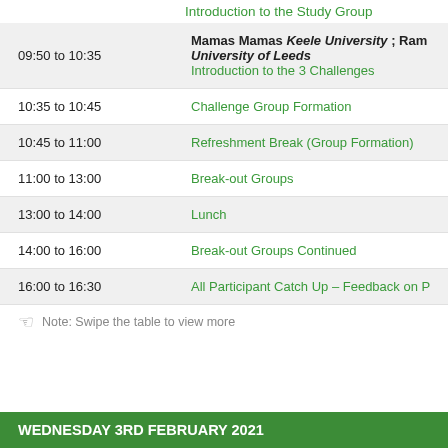Introduction to the Study Group
| Time | Event |
| --- | --- |
| 09:50 to 10:35 | Mamas Mamas Keele University ; Ram... University of Leeds
Introduction to the 3 Challenges |
| 10:35 to 10:45 | Challenge Group Formation |
| 10:45 to 11:00 | Refreshment Break (Group Formation) |
| 11:00 to 13:00 | Break-out Groups |
| 13:00 to 14:00 | Lunch |
| 14:00 to 16:00 | Break-out Groups Continued |
| 16:00 to 16:30 | All Participant Catch Up – Feedback on P... |
Note: Swipe the table to view more
WEDNESDAY 3RD FEBRUARY 2021